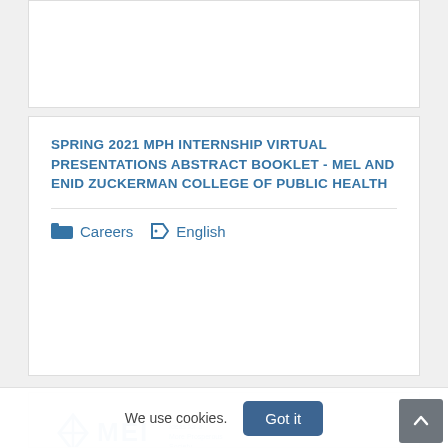SPRING 2021 MPH INTERNSHIP VIRTUAL PRESENTATIONS ABSTRACT BOOKLET - MEL AND ENID ZUCKERMAN COLLEGE OF PUBLIC HEALTH
Careers  English
[Figure (logo): MEI logo with tagline 'Ideas for a More Prosperous Society']
[Figure (photo): Strip of three photos showing people in healthcare/science settings]
We use cookies.
Got it